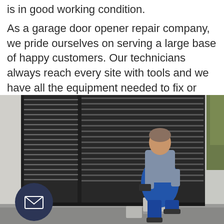is in good working condition.
As a garage door opener repair company, we pride ourselves on serving a large base of happy customers. Our technicians always reach every site with tools and we have all the equipment needed to fix or replace your garage door spring.
[Figure (photo): A technician in blue overalls and plaid shirt crouching in front of a dark slatted garage gate, holding a device, with a motor unit on the ground beside him. A dark navy circular email/contact button overlays the bottom-left of the image.]